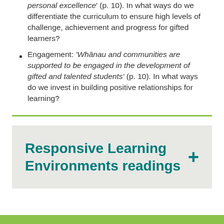personal excellence' (p. 10). In what ways do we differentiate the curriculum to ensure high levels of challenge, achievement and progress for gifted learners?
Engagement: 'Whānau and communities are supported to be engaged in the development of gifted and talented students' (p. 10). In what ways do we invest in building positive relationships for learning?
Responsive Learning Environments readings